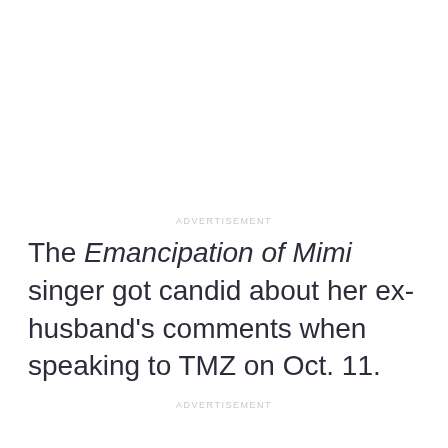ADVERTISEMENT
The Emancipation of Mimi singer got candid about her ex-husband's comments when speaking to TMZ on Oct. 11.
ADVERTISEMENT